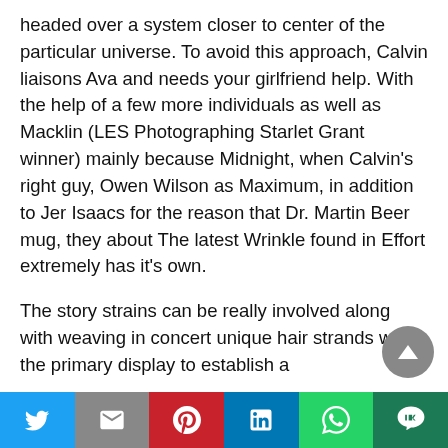headed over a system closer to center of the particular universe. To avoid this approach, Calvin liaisons Ava and needs your girlfriend help. With the help of a few more individuals as well as Macklin (LES Photographing Starlet Grant winner) mainly because Midnight, when Calvin's right guy, Owen Wilson as Maximum, in addition to Jer Isaacs for the reason that Dr. Martin Beer mug, they about The latest Wrinkle found in Effort extremely has it's own.
The story strains can be really involved along with weaving in concert unique hair strands within the primary display to establish a
[Figure (other): Round scroll-to-top navigation button, grey circle with white upward-pointing triangle/arrow]
[Figure (other): Social share bar with six buttons: Twitter (blue), Gmail/Email (grey, M icon), Pinterest (red), LinkedIn (blue), WhatsApp (green), Line (dark green)]